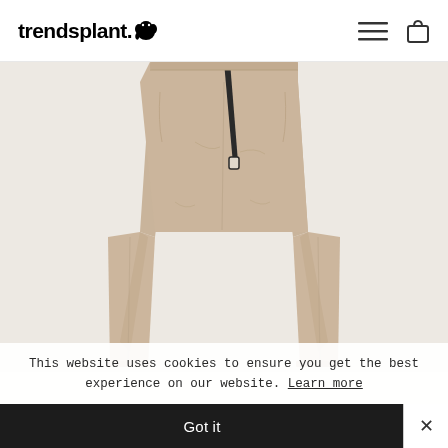trendsplant.
[Figure (photo): Khaki/beige wide-leg trousers with a dark strap/belt accent, displayed flat against a light background. The pants feature a relaxed fit with a visible waistband and a small label detail.]
This website uses cookies to ensure you get the best experience on our website. Learn more
Got it